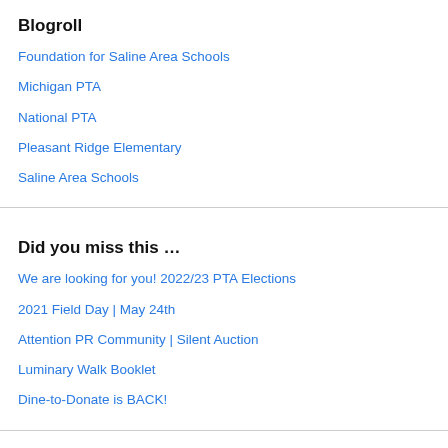Blogroll
Foundation for Saline Area Schools
Michigan PTA
National PTA
Pleasant Ridge Elementary
Saline Area Schools
Did you miss this …
We are looking for you! 2022/23 PTA Elections
2021 Field Day | May 24th
Attention PR Community | Silent Auction
Luminary Walk Booklet
Dine-to-Donate is BACK!
Follow us ..